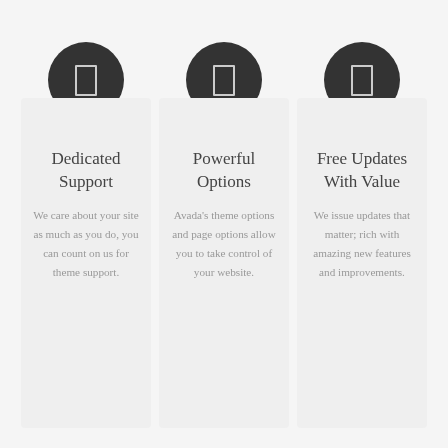[Figure (illustration): Dark circle icon with small rectangle outline symbol]
Dedicated Support
We care about your site as much as you do, you can count on us for theme support.
[Figure (illustration): Dark circle icon with small rectangle outline symbol]
Powerful Options
Avada's theme options and page options allow you to take control of your website.
[Figure (illustration): Dark circle icon with small rectangle outline symbol]
Free Updates With Value
We issue updates that matter; rich with amazing new features and improvements.